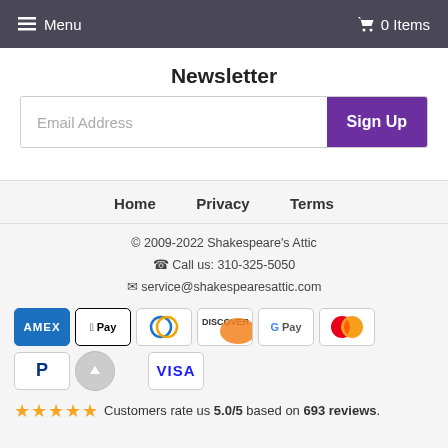Menu   0 Items
Newsletter
Email Address  Sign Up
Home  Privacy  Terms
© 2009-2022 Shakespeare's Attic
☎ Call us: 310-325-5050
✉ service@shakespearesattic.com
[Figure (infographic): Payment method icons: AMEX, Apple Pay, Diners Club, Discover, Google Pay, Mastercard, PayPal, scroll-up button, Visa]
★★★★★ Customers rate us 5.0/5 based on 693 reviews.